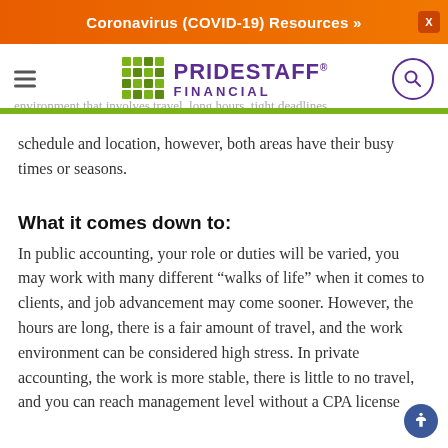Coronavirus (COVID-19) Resources »
[Figure (logo): PrideStaff Financial logo with green grid icon and purple text]
environment that involves travel, long hours, tight deadlines, and may not always be a consistent work environment while private accountants usually features no travel and a fixed work schedule and location, however, both areas have their busy times or seasons.
What it comes down to:
In public accounting, your role or duties will be varied, you may work with many different “walks of life” when it comes to clients, and job advancement may come sooner. However, the hours are long, there is a fair amount of travel, and the work environment can be considered high stress. In private accounting, the work is more stable, there is little to no travel, and you can reach management level without a CPA license